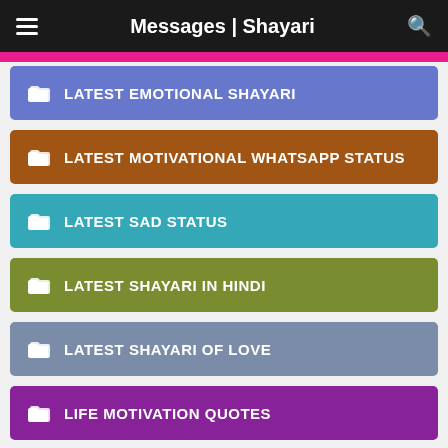Messages | Shayari
LATEST EMOTIONAL SHAYARI
LATEST MOTIVATIONAL WHATSAPP STATUS
LATEST SAD STATUS
LATEST SHAYARI IN HINDI
LATEST SHAYARI OF LOVE
LIFE MOTIVATION QUOTES
LIFE QUOTES